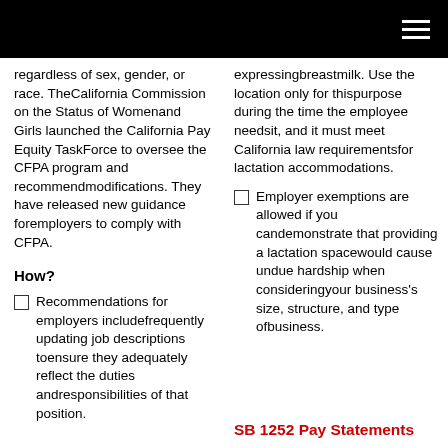(navigation bar)
regardless of sex, gender, or race. TheCalifornia Commission on the Status of Womenand Girls launched the California Pay Equity TaskForce to oversee the CFPA program and recommendmodifications. They have released new guidance foremployers to comply with CFPA.
How?
Recommendations for employers includefrequently updating job descriptions toensure they adequately reflect the duties andresponsibilities of that position.
expressingbreastmilk. Use the location only for thispurpose during the time the employee needsit, and it must meet California law requirementsfor lactation accommodations.
Employer exemptions are allowed if you candemonstrate that providing a lactation spacewould cause undue hardship when consideringyour business's size, structure, and type ofbusiness.
SB 1252 Pay Statements